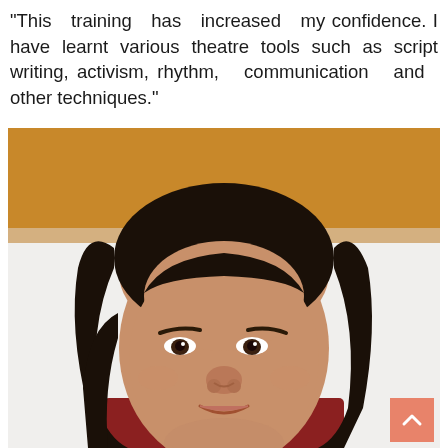“This training has increased my confidence. I have learnt various theatre tools such as script writing, activism, rhythm, communication and other techniques.”
[Figure (photo): Portrait photo of a young woman with dark hair, wearing a dark red/maroon top, smiling slightly, with an orange/yellow wall visible in the background.]